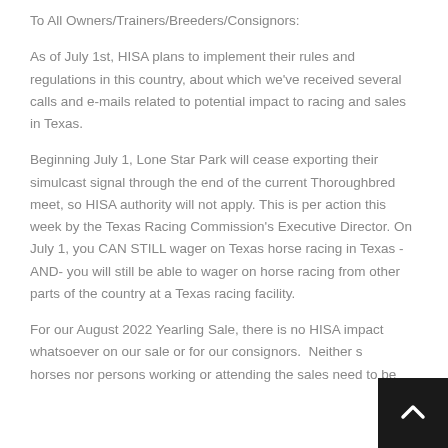To All Owners/Trainers/Breeders/Consignors:
As of July 1st, HISA plans to implement their rules and regulations in this country, about which we've received several calls and e-mails related to potential impact to racing and sales in Texas.
Beginning July 1, Lone Star Park will cease exporting their simulcast signal through the end of the current Thoroughbred meet, so HISA authority will not apply. This is per action this week by the Texas Racing Commission's Executive Director. On July 1, you CAN STILL wager on Texas horse racing in Texas -AND- you will still be able to wager on horse racing from other parts of the country at a Texas racing facility.
For our August 2022 Yearling Sale, there is no HISA impact whatsoever on our sale or for our consignors.  Neither s horses nor persons working or attending the sales need to be